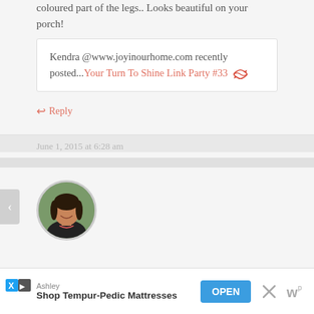This is such a great idea, Amanda. Love how you coloured part of the legs.. Looks beautiful on your porch!
Kendra @www.joyinourhome.com recently posted...Your Turn To Shine Link Party #33
↩ Reply
June 1, 2015 at 6:28 am
[Figure (photo): Circular avatar photo of Amanda, a woman with dark hair wearing a black tank top and necklace, photographed outdoors.]
Amanda says:
Ashley
Shop Tempur-Pedic Mattresses  OPEN